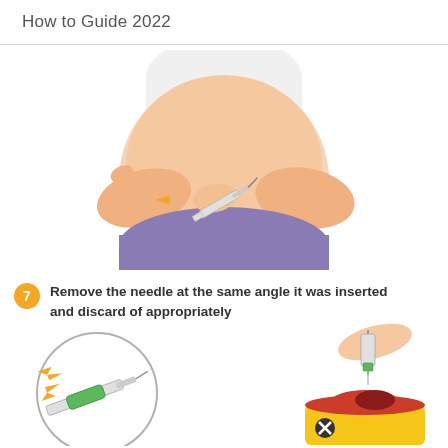How to Guide 2022
[Figure (illustration): Medical illustration showing a person pinching abdominal skin and inserting/removing an injection needle with an orange arrow indicating removal direction]
7  Remove the needle at the same angle it was inserted and discard of appropriately
[Figure (illustration): Close-up circular diagram showing needle being removed from syringe at an angle with orange directional arrows]
[Figure (illustration): Hand disposing a used syringe into a yellow sharps disposal container with a red opening and a black X symbol]